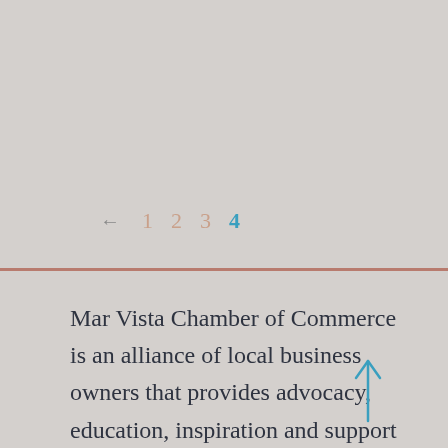← 1 2 3 4
Mar Vista Chamber of Commerce is an alliance of local business owners that provides advocacy, education, inspiration and support to increase